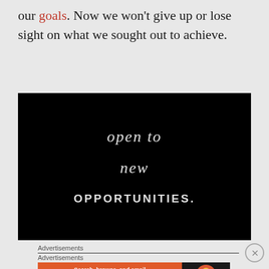our goals. Now we won't give up or lose sight on what we sought out to achieve.
[Figure (photo): Black background image with handwritten-style white text reading 'open to new OPPORTUNITIES.']
Advertisements
Advertisements
[Figure (other): DuckDuckGo advertisement banner: orange left side with text 'Search, browse, and email with more privacy. All in One Free App', dark right side with DuckDuckGo duck logo and brand name.]